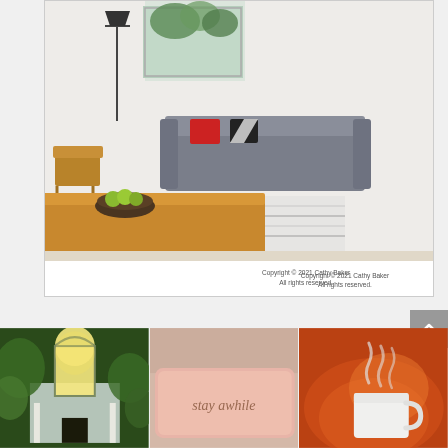[Figure (photo): Interior living room photo with wooden table, gray sofa, red pillow, patterned rug, and window. Watermark text 'cathybaker.org' overlaid at bottom left.]
Copyright © 2021 Cathy Baker
All rights reserved.
[Figure (photo): Whimsical cottage house with arched gothic window, surrounded by green plants, lit from within.]
[Figure (photo): Pink pillow with cursive text 'stay awhile', with blurred background.]
[Figure (photo): Steam rising from a white camping mug near a fireplace, with blurred warm fire background.]